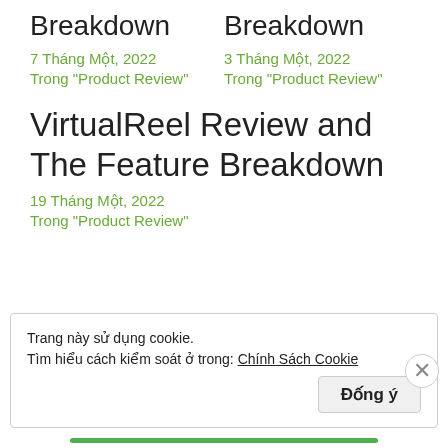Breakdown
7 Tháng Một, 2022
Trong "Product Review"
Breakdown
3 Tháng Một, 2022
Trong "Product Review"
VirtualReel Review and The Feature Breakdown
19 Tháng Một, 2022
Trong "Product Review"
Trang này sử dụng cookie.
Tìm hiểu cách kiểm soát ở trong: Chính Sách Cookie
Đống ý